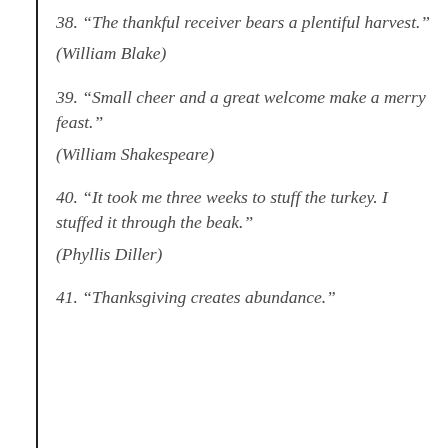38. “The thankful receiver bears a plentiful harvest.”
(William Blake)
39. “Small cheer and a great welcome make a merry feast.”
(William Shakespeare)
40. “It took me three weeks to stuff the turkey. I stuffed it through the beak.”
(Phyllis Diller)
41. “Thanksgiving creates abundance.”